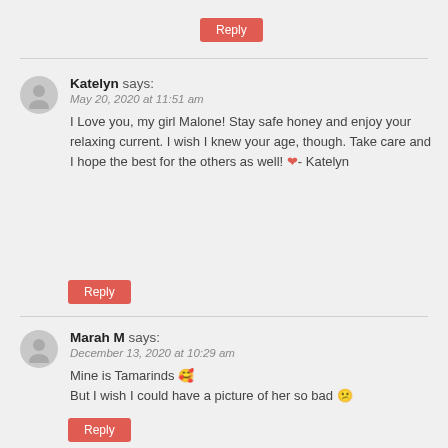Reply
Katelyn says:
May 20, 2020 at 11:51 am
I Love you, my girl Malone! Stay safe honey and enjoy your relaxing current. I wish I knew your age, though. Take care and I hope the best for the others as well! ❤️- Katelyn
Reply
Marah M says:
December 13, 2020 at 10:29 am
Mine is Tamarinds 🥰
But I wish I could have a picture of her so bad 😟
Reply